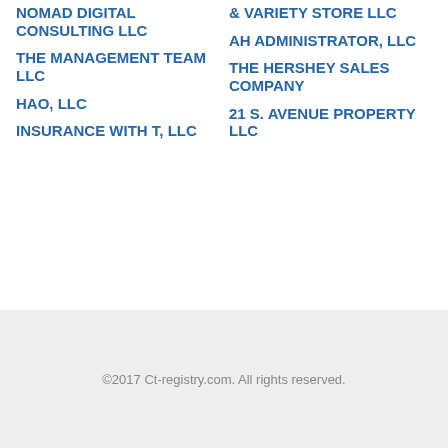NOMAD DIGITAL CONSULTING LLC
THE MANAGEMENT TEAM LLC
HAO, LLC
INSURANCE WITH T, LLC
& VARIETY STORE LLC
AH ADMINISTRATOR, LLC
THE HERSHEY SALES COMPANY
21 S. AVENUE PROPERTY LLC
[Figure (screenshot): Search company input field with placeholder text 'Search company']
[Figure (screenshot): Search button]
©2017 Ct-registry.com. All rights reserved.